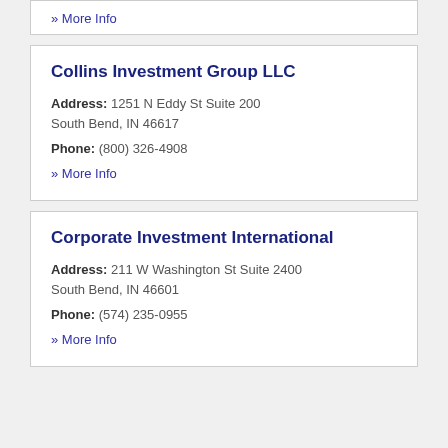» More Info
Collins Investment Group LLC
Address: 1251 N Eddy St Suite 200
South Bend, IN 46617
Phone: (800) 326-4908
» More Info
Corporate Investment International
Address: 211 W Washington St Suite 2400
South Bend, IN 46601
Phone: (574) 235-0955
» More Info